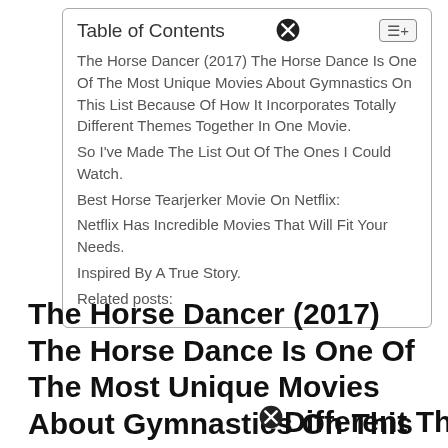Table of Contents
The Horse Dancer (2017) The Horse Dance Is One Of The Most Unique Movies About Gymnastics On This List Because Of How It Incorporates Totally Different Themes Together In One Movie.
So I've Made The List Out Of The Ones I Could Watch.
Best Horse Tearjerker Movie On Netflix:
Netflix Has Incredible Movies That Will Fit Your Needs.
Inspired By A True Story.
Related posts:
The Horse Dancer (2017) The Horse Dance Is One Of The Most Unique Movies About Gymnastics On This List Because Of How It Incorporates Totally Different Themes